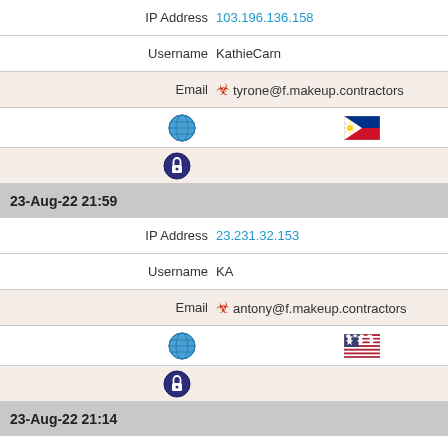| IP Address | 103.196.136.158 |
| Username | KathieCarn |
| Email | ⚠ tyrone@f.makeup.contractors |
| [globe icon] | [Philippines flag] |
| [lock icon] |  |
| 23-Aug-22 21:59 |  |
| IP Address | 23.231.32.153 |
| Username | KA |
| Email | ⚠ antony@f.makeup.contractors |
| [globe icon] | [US flag] |
| [lock icon] |  |
| 23-Aug-22 21:14 |  |
| IP Address | 107.150.64.253 |
| Username | IE |
| Email | ⚠ sabra@f.makeup.contractors |
| [globe icon] | [US flag] |
| [lock icon] |  |